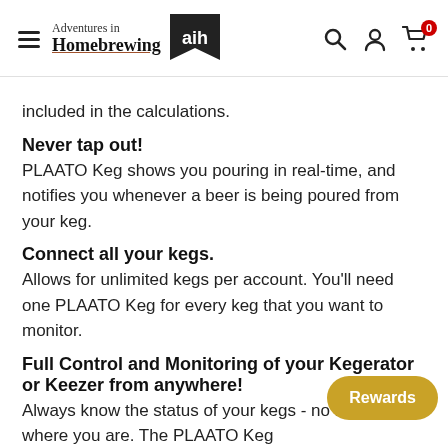Adventures in Homebrewing [logo with aih badge]
included in the calculations.
Never tap out!
PLAATO Keg shows you pouring in real-time, and notifies you whenever a beer is being poured from your keg.
Connect all your kegs.
Allows for unlimited kegs per account. You'll need one PLAATO Keg for every keg that you want to monitor.
Full Control and Monitoring of your Kegerator or Keezer from anywhere!
Always know the status of your kegs - no matter where you are. The PLAATO Keg sends real-time data of your kegs directly to your smartphone using WiFi. Each keg has its own dashboard,